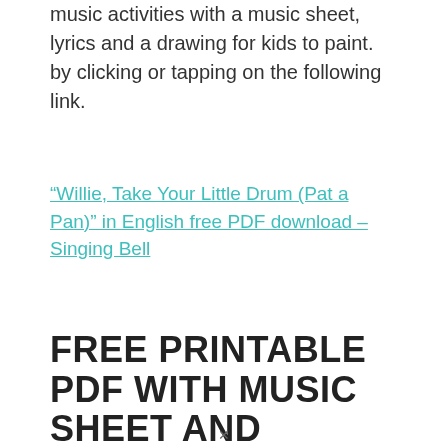music activities with a music sheet, lyrics and a drawing for kids to paint. by clicking or tapping on the following link.
“Willie, Take Your Little Drum (Pat a Pan)” in English free PDF download – Singing Bell
FREE PRINTABLE PDF WITH MUSIC SHEET AND LYRICS (FRENCH)